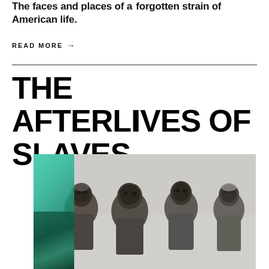The faces and places of a forgotten strain of American life.
READ MORE →
THE AFTERLIVES OF SLAVES
[Figure (photo): Black and white historical photograph of four elderly men, likely formerly enslaved individuals, shown from the waist up. The image has a teal/green color overlay on the left portion.]